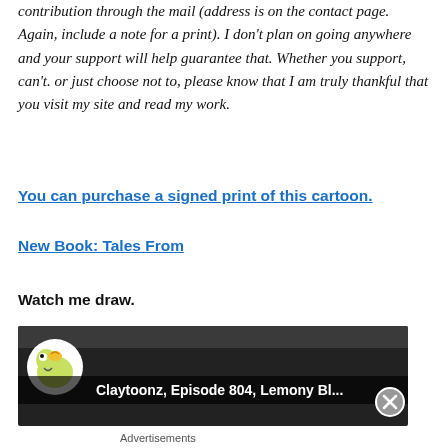contribution through the mail (address is on the contact page. Again, include a note for a print). I don't plan on going anywhere and your support will help guarantee that. Whether you support, can't. or just choose not to, please know that I am truly thankful that you visit my site and read my work.
You can purchase a signed print of this cartoon.
New Book: Tales From
Watch me draw.
[Figure (screenshot): Video thumbnail showing Claytoonz Episode 804, Lemony Bl... with a cartoon bird logo on the left and a dark screenshot of a drawing application in the background.]
Advertisements